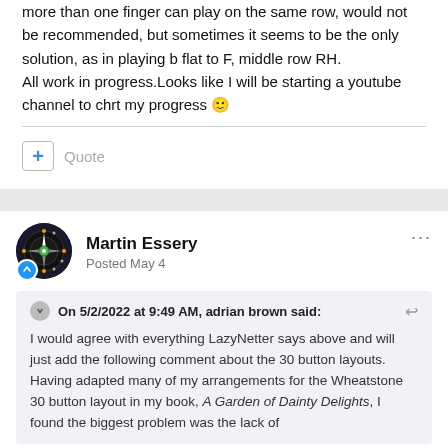more than one finger can play on the same row, would not be recommended, but sometimes it seems to be the only solution, as in playing b flat to F, middle row RH.
All work in progress.Looks like I will be starting a youtube channel to chrt my progress 🙂
+ Quote
Martin Essery
Posted May 4
On 5/2/2022 at 9:49 AM, adrian brown said:
I would agree with everything LazyNetter says above and will just add the following comment about the 30 button layouts. Having adapted many of my arrangements for the Wheatstone 30 button layout in my book, A Garden of Dainty Delights, I found the biggest problem was the lack of